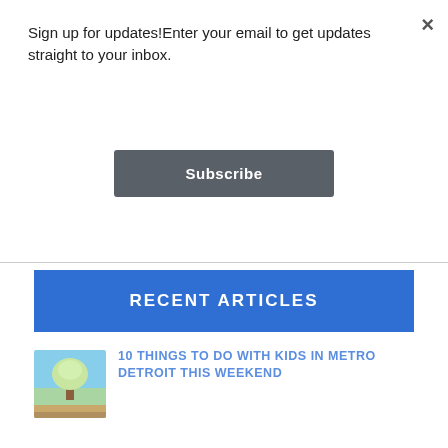Sign up for updates!Enter your email to get updates straight to your inbox.
Subscribe
RECENT ARTICLES
[Figure (photo): Tree sculpture at an outdoor event]
10 THINGS TO DO WITH KIDS IN METRO DETROIT THIS WEEKEND
[Figure (photo): Aerial view of Turtle Cove Aquatic Center water park]
PLAN A TRIP TO TURTLE COVE AQUATIC CENTER
[Figure (photo): Green octopus exhibit at Belle Isle]
VISIT THE NEW OCTOPUS AT BELLE